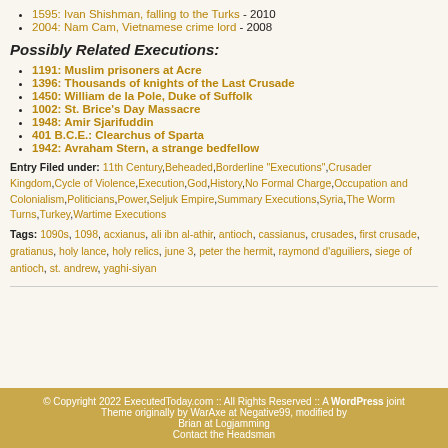1595: Ivan Shishman, falling to the Turks - 2010
2004: Nam Cam, Vietnamese crime lord - 2008
Possibly Related Executions:
1191: Muslim prisoners at Acre
1396: Thousands of knights of the Last Crusade
1450: William de la Pole, Duke of Suffolk
1002: St. Brice's Day Massacre
1948: Amir Sjarifuddin
401 B.C.E.: Clearchus of Sparta
1942: Avraham Stern, a strange bedfellow
Entry Filed under: 11th Century,Beheaded,Borderline "Executions",Crusader Kingdom,Cycle of Violence,Execution,God,History,No Formal Charge,Occupation and Colonialism,Politicians,Power,Seljuk Empire,Summary Executions,Syria,The Worm Turns,Turkey,Wartime Executions
Tags: 1090s, 1098, acxianus, ali ibn al-athir, antioch, cassianus, crusades, first crusade, gratianus, holy lance, holy relics, june 3, peter the hermit, raymond d'aguiliers, siege of antioch, st. andrew, yaghi-siyan
© Copyright 2022 ExecutedToday.com :: All Rights Reserved :: A WordPress joint
Theme originally by WarAxe at Negative99, modified by
Brian at Logjamming
Contact the Headsman